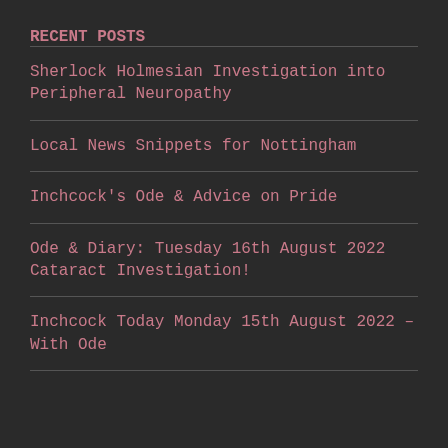RECENT POSTS
Sherlock Holmesian Investigation into Peripheral Neuropathy
Local News Snippets for Nottingham
Inchcock's Ode & Advice on Pride
Ode & Diary: Tuesday 16th August 2022 Cataract Investigation!
Inchcock Today Monday 15th August 2022 – With Ode